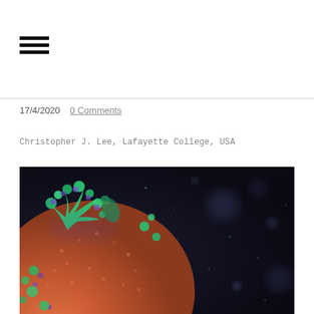[Figure (other): Hamburger menu icon with three horizontal black bars]
17/4/2020  0 Comments
Christopher J. Lee, Lafayette College, USA
[Figure (photo): Close-up 3D rendering of a coronavirus particle showing orange textured surface with green and blue spike proteins against a dark background with bokeh light effects]